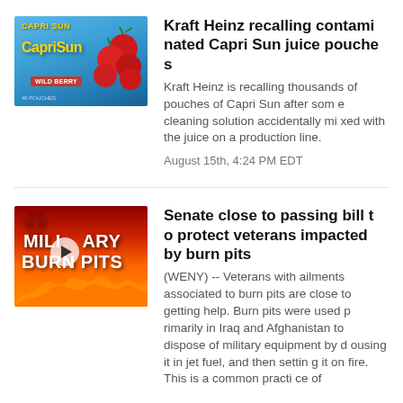[Figure (photo): Capri Sun Wild Berry juice pouch box packaging, blue background with cherries]
Kraft Heinz recalling contaminated Capri Sun juice pouches
Kraft Heinz is recalling thousands of pouches of Capri Sun after some cleaning solution accidentally mixed with the juice on a production line.
August 15th, 4:24 PM EDT
[Figure (screenshot): Military Burn Pits video thumbnail with fiery red/orange background and text 'MILITARY BURN PITS', with a play button overlay]
Senate close to passing bill to protect veterans impacted by burn pits
(WENY) -- Veterans with ailments associated to burn pits are close to getting help. Burn pits were used primarily in Iraq and Afghanistan to dispose of military equipment by dousing it in jet fuel, and then setting it on fire. This is a common practice of